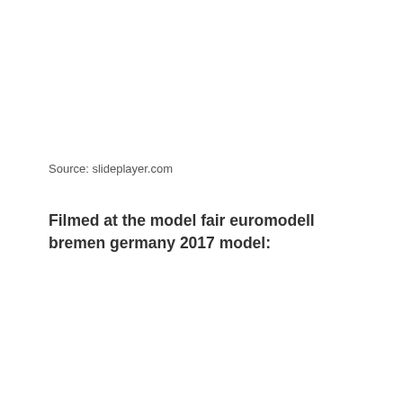Source: slideplayer.com
Filmed at the model fair euromodell bremen germany 2017 model: